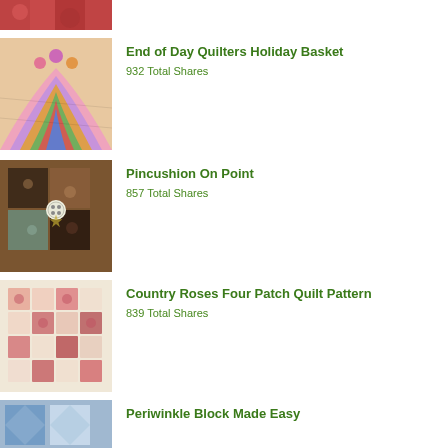[Figure (photo): Partial photo of quilted fabric in red/pink tones, cropped at top]
[Figure (photo): Colorful curved quilt strips in pink, purple, yellow fabric]
End of Day Quilters Holiday Basket
932 Total Shares
[Figure (photo): Patchwork pincushion with dark floral and teal fabric with a button]
Pincushion On Point
857 Total Shares
[Figure (photo): Country roses four patch quilt laid out showing pink rose squares on cream background]
Country Roses Four Patch Quilt Pattern
839 Total Shares
[Figure (photo): Partial photo of blue and white periwinkle quilt block, cropped at bottom]
Periwinkle Block Made Easy